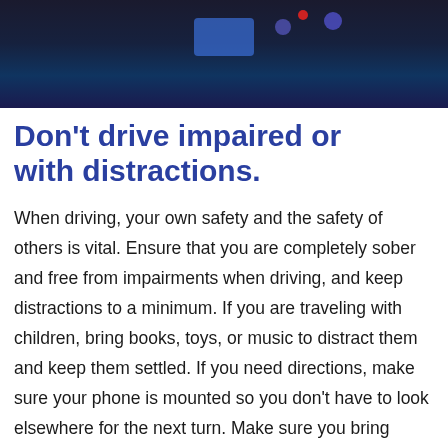[Figure (photo): Dark nighttime dashboard/driving scene with blue and red bokeh lights in the background]
Don't drive impaired or with distractions.
When driving, your own safety and the safety of others is vital. Ensure that you are completely sober and free from impairments when driving, and keep distractions to a minimum. If you are traveling with children, bring books, toys, or music to distract them and keep them settled. If you need directions, make sure your phone is mounted so you don't have to look elsewhere for the next turn. Make sure you bring music, audio books, or pick out your favorite podcasts to listen to. It will make the time fly by and will give you another reason to stay extra alert